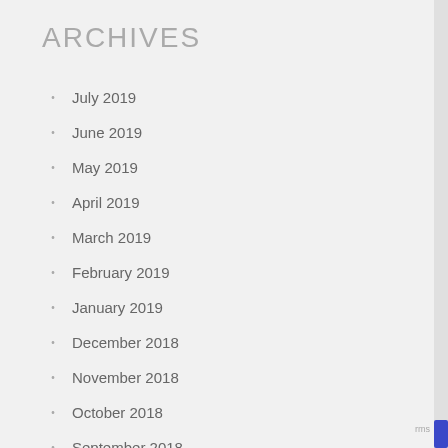ARCHIVES
July 2019
June 2019
May 2019
April 2019
March 2019
February 2019
January 2019
December 2018
November 2018
October 2018
September 2018
August 2018
July 2018
June 2018
May 2018